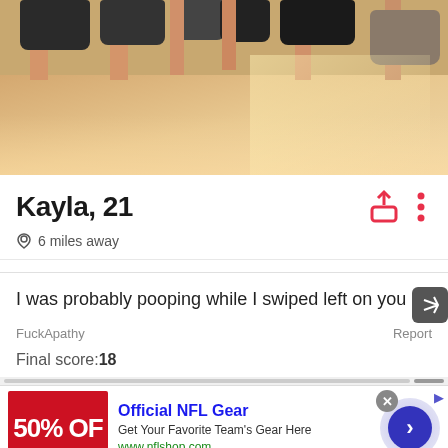[Figure (photo): Cropped photo showing people's legs and various shoes (sneakers, boots) on a wooden floor]
Kayla, 21
6 miles away
I was probably pooping while I swiped left on you
FuckApathy
Report
Final score:18
[Figure (screenshot): Advertisement for Official NFL Gear showing 50% OFF with NFL shop logo and arrow button]